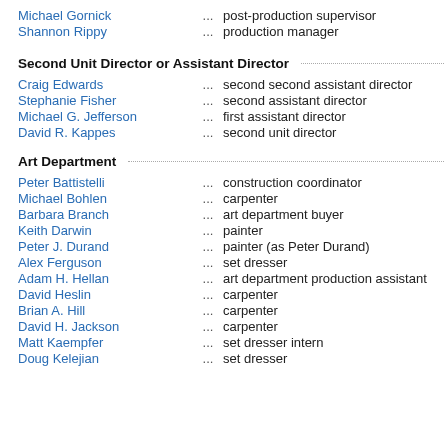Michael Gornick ... post-production supervisor
Shannon Rippy ... production manager
Second Unit Director or Assistant Director
Craig Edwards ... second second assistant director
Stephanie Fisher ... second assistant director
Michael G. Jefferson ... first assistant director
David R. Kappes ... second unit director
Art Department
Peter Battistelli ... construction coordinator
Michael Bohlen ... carpenter
Barbara Branch ... art department buyer
Keith Darwin ... painter
Peter J. Durand ... painter (as Peter Durand)
Alex Ferguson ... set dresser
Adam H. Hellan ... art department production assistant
David Heslin ... carpenter
Brian A. Hill ... carpenter
David H. Jackson ... carpenter
Matt Kaempfer ... set dresser intern
Doug Kelejian ... set dresser